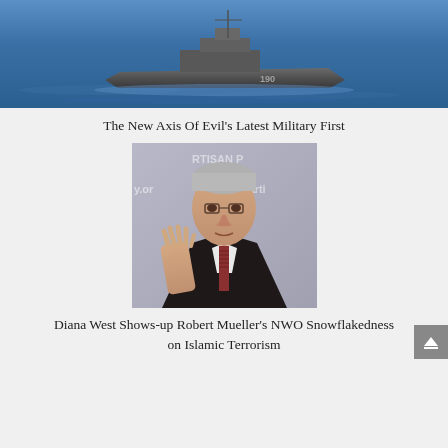[Figure (photo): Aerial or elevated photo of a naval warship numbered 190 sailing on blue ocean water]
The New Axis Of Evil's Latest Military First
[Figure (photo): Photo of a man in a dark suit with striped tie, raising one hand, speaking at a bipartisan policy center event (backdrop reads 'biparti' and 'y.or')]
Diana West Shows-up Robert Mueller's NWO Snowflakedness on Islamic Terrorism